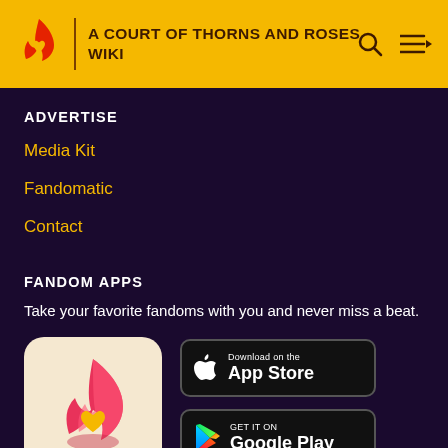A COURT OF THORNS AND ROSES WIKI
ADVERTISE
Media Kit
Fandomatic
Contact
FANDOM APPS
Take your favorite fandoms with you and never miss a beat.
[Figure (logo): Fandom app icon with pink/red flame and yellow heart on cream background]
[Figure (screenshot): Download on the App Store button]
[Figure (screenshot): GET IT ON Google Play button]